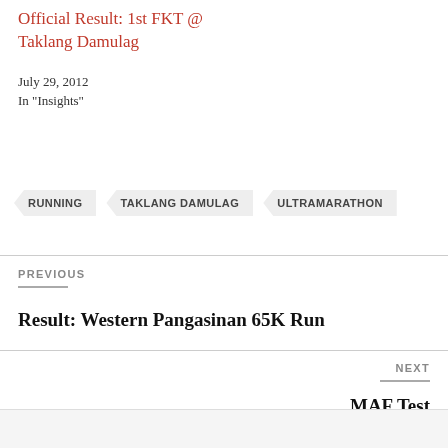Official Result: 1st FKT @ Taklang Damulag
July 29, 2012
In "Insights"
RUNNING
TAKLANG DAMULAG
ULTRAMARATHON
PREVIOUS
Result: Western Pangasinan 65K Run
NEXT
MAF Test